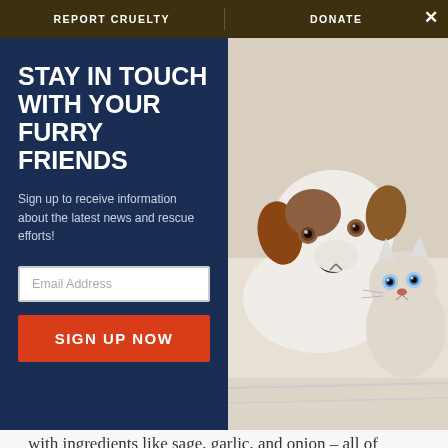REPORT CRUELTY   DONATE
STAY IN TOUCH WITH YOUR FURRY FRIENDS
Sign up to receive information about the latest news and rescue efforts!
Email Address
SIGN UP NOW
[Figure (photo): A brown and white Jack Russell Terrier dog and a light-colored kitten sitting together on a white surface]
an upset stomach. In addition, many turkeys are basted with ingredients like sage, garlic, and onion – all of which are harmful to pets.
Bread Dough - Warm bread dough rises. When